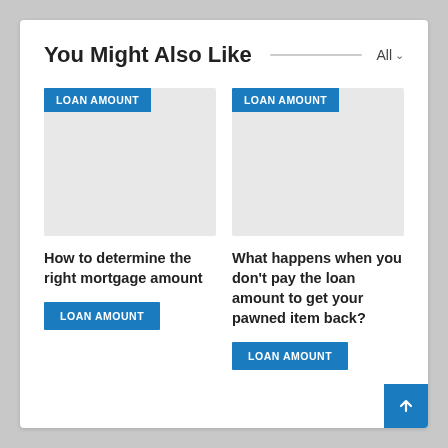You Might Also Like
[Figure (screenshot): Gray placeholder image with blue LOAN AMOUNT badge for article 1]
How to determine the right mortgage amount
LOAN AMOUNT
[Figure (screenshot): Gray placeholder image with blue LOAN AMOUNT badge for article 2]
What happens when you don't pay the loan amount to get your pawned item back?
LOAN AMOUNT